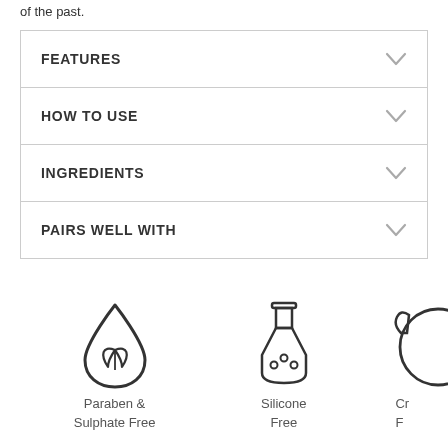of the past.
FEATURES
HOW TO USE
INGREDIENTS
PAIRS WELL WITH
[Figure (infographic): Paraben & Sulphate Free icon (drop with leaf), Silicone Free icon (flask/beaker), partially visible Cruelty Free icon]
Paraben & Sulphate Free
Silicone Free
Cr... F...